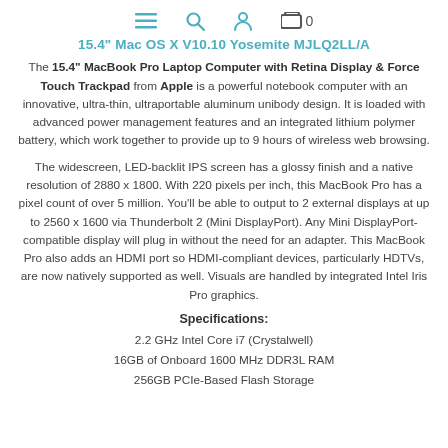≡  🔍  👤  🛒 0
15.4" Mac OS X V10.10 Yosemite MJLQ2LL/A
The 15.4" MacBook Pro Laptop Computer with Retina Display & Force Touch Trackpad from Apple is a powerful notebook computer with an innovative, ultra-thin, ultraportable aluminum unibody design. It is loaded with advanced power management features and an integrated lithium polymer battery, which work together to provide up to 9 hours of wireless web browsing.
The widescreen, LED-backlit IPS screen has a glossy finish and a native resolution of 2880 x 1800. With 220 pixels per inch, this MacBook Pro has a pixel count of over 5 million. You'll be able to output to 2 external displays at up to 2560 x 1600 via Thunderbolt 2 (Mini DisplayPort). Any Mini DisplayPort-compatible display will plug in without the need for an adapter. This MacBook Pro also adds an HDMI port so HDMI-compliant devices, particularly HDTVs, are now natively supported as well. Visuals are handled by integrated Intel Iris Pro graphics.
Specifications:
2.2 GHz Intel Core i7 (Crystalwell)
16GB of Onboard 1600 MHz DDR3L RAM
256GB PCIe-Based Flash Storage